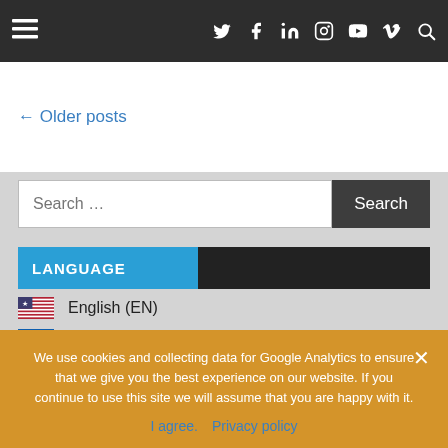Navigation bar with hamburger menu and social icons: Twitter, Facebook, LinkedIn, Instagram, YouTube, Vimeo, Search
← Older posts
Search …
LANGUAGE
🇺🇸  English  (EN)
🇬🇷  Ελληνικά  (GR)
FRIENDS
We use cookies and collecting data for Google Analytics to ensure that we give you the best experience on our website. If you continue to use this site we will assume that you are happy with it.
I agree.
Privacy policy